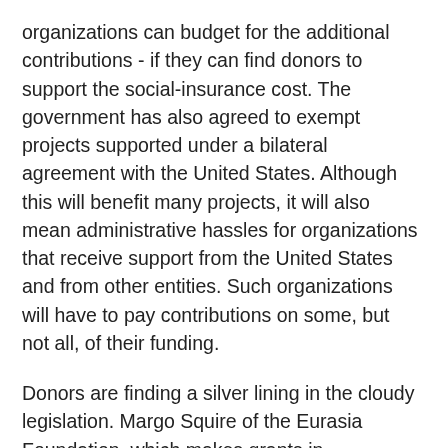organizations can budget for the additional contributions - if they can find donors to support the social-insurance cost. The government has also agreed to exempt projects supported under a bilateral agreement with the United States. Although this will benefit many projects, it will also mean administrative hassles for organizations that receive support from the United States and from other entities. Such organizations will have to pay contributions on some, but not all, of their funding.
Donors are finding a silver lining in the cloudy legislation. Margo Squire of the Eurasia Foundation, which makes grants in Azerbaijan, believes that NGOs are learning new tactics through the lobbying process and are making important new contacts with the authorities. Although disappointed by the lack of consultation before the law's passage, Squire believes many of the concerns raised by NGOs will eventually be addressed and resolved in their